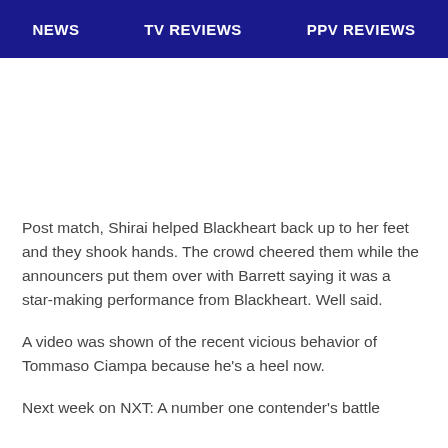NEWS   TV REVIEWS   PPV REVIEWS
[Figure (other): Advertisement placeholder area (white space)]
Post match, Shirai helped Blackheart back up to her feet and they shook hands. The crowd cheered them while the announcers put them over with Barrett saying it was a star-making performance from Blackheart. Well said.
A video was shown of the recent vicious behavior of Tommaso Ciampa because he’s a heel now.
Next week on NXT: A number one contender’s battle